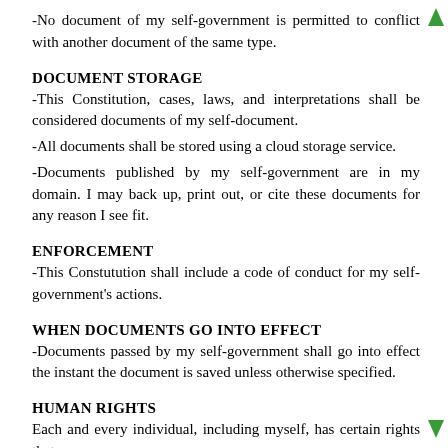-No document of my self-government is permitted to conflict with another document of the same type.
DOCUMENT STORAGE
-This Constitution, cases, laws, and interpretations shall be considered documents of my self-document.
-All documents shall be stored using a cloud storage service.
-Documents published by my self-government are in my domain. I may back up, print out, or cite these documents for any reason I see fit.
ENFORCEMENT
-This Constutution shall include a code of conduct for my self-government's actions.
WHEN DOCUMENTS GO INTO EFFECT
-Documents passed by my self-government shall go into effect the instant the document is saved unless otherwise specified.
HUMAN RIGHTS
Each and every individual, including myself, has certain rights that